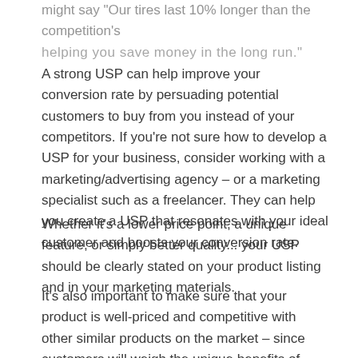might say 'Our tires last 10% longer than the competition's helping you save money in the long run.'
A strong USP can help improve your conversion rate by persuading potential customers to buy from you instead of your competitors. If you're not sure how to develop a USP for your business, consider working with a marketing/advertising agency – or a marketing specialist such as a freelancer. They can help you create a USP that resonates with your ideal customer and boosts your conversion rate.
Whether it's a lower price point, a unique feature, or simply better quality... your USP should be clearly stated on your product listing and in your marketing materials.
It's also important to make sure that your product is well-priced and competitive with other similar products on the market – since customers will weigh the unique benefits of your products with competitors and their costs. By taking these steps, you can ensure that your product stands out from the